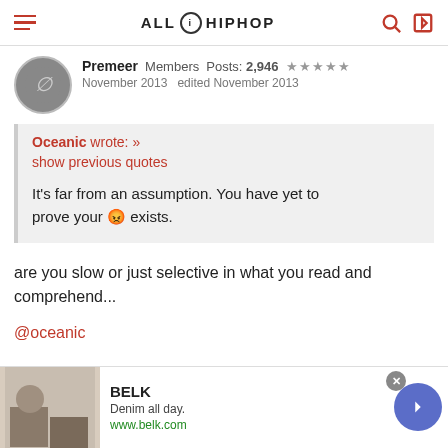ALL HIP HOP
Premeer   Members   Posts: 2,946   ★★★★★
November 2013   edited November 2013
Oceanic wrote: »
show previous quotes

It's far from an assumption. You have yet to prove your 😡 exists.
are you slow or just selective in what you read and comprehend...
@oceanic
[Figure (screenshot): BELK advertisement banner at bottom of page: Denim all day. www.belk.com]